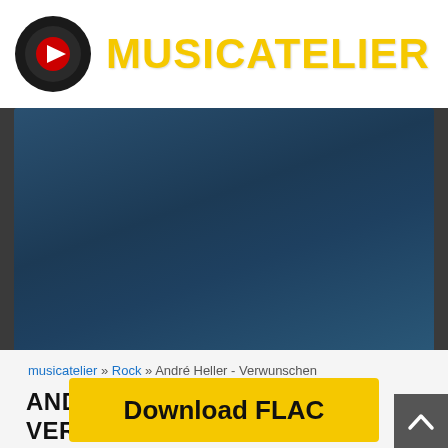MUSICATELIER
[Figure (screenshot): Blue gradient banner area]
musicatelier » Rock » André Heller - Verwunschen
ANDRÉ HELLER - VERWUNSCHEN ALBUM
André Heller
Germany
Mandragora
Folk Rock
Soft Rock
Ballad
1980
Download FLAC